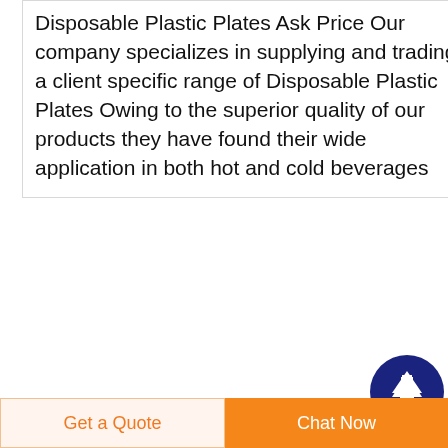Disposable Plastic Plates Ask Price Our company specializes in supplying and trading a client specific range of Disposable Plastic Plates Owing to the superior quality of our products they have found their wide application in both hot and cold beverages
[Figure (illustration): Dark blue circle with white upward arrow icon (scroll to top button)]
[Figure (photo): Small thumbnail image of Luer Lock connector on light pink/purple background]
Luer Lock connectorSuzhou Health Medical Plastic
China Luer Lock connector catalog of Disposable for
Get a Quote
Chat Now